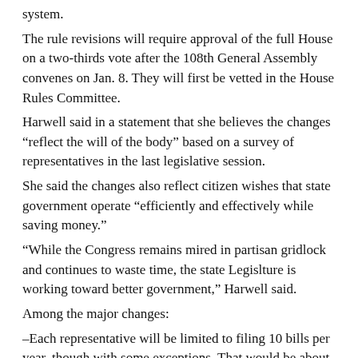system.
The rule revisions will require approval of the full House on a two-thirds vote after the 108th General Assembly convenes on Jan. 8. They will first be vetted in the House Rules Committee.
Harwell said in a statement that she believes the changes “reflect the will of the body” based on a survey of representatives in the last legislative session.
She said the changes also reflect citizen wishes that state government operate “efficiently and effectively while saving money.”
“While the Congress remains mired in partisan gridlock and continues to waste time, the state Legislture is working toward better government,” Harwell said.
Among the major changes:
–Each representative will be limited to filing 10 bills per year, though with some exceptions. That would be about half the average number of bills filed per representative in the last legislative session, which saw